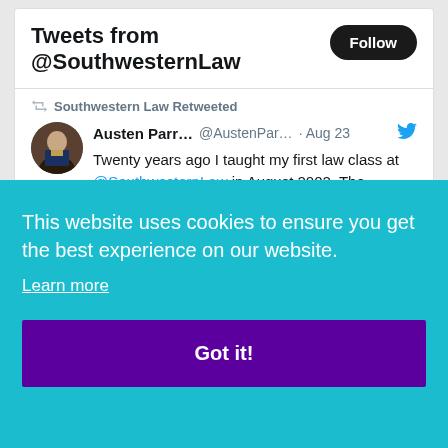Tweets from @SouthwesternLaw
Southwestern Law Retweeted
Austen Parr... @AustenPar... · Aug 23
Twenty years ago I taught my first law class at @SouthwesternLaw in August 2002. The students gave me this photo as a gift at the end of the semester (just came across it this evening as I was unpacking in my new office). It really was a fabulous group of students
This website uses cookies to ensure you get the best experience on our website.
Learn more
Got it!